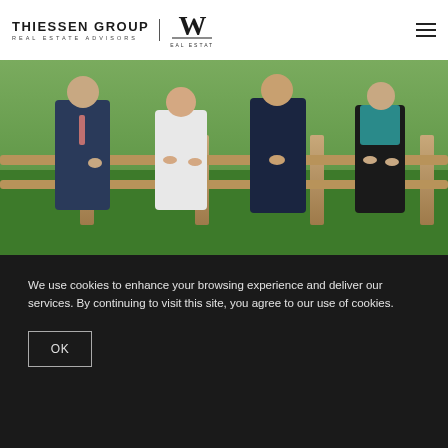[Figure (logo): Thiessen Group Real Estate Advisors logo combined with W Real Estate logo]
[Figure (photo): Group photo of four real estate professionals standing at a wooden fence outdoors with green grass background]
We use cookies to enhance your browsing experience and deliver our services. By continuing to visit this site, you agree to our use of cookies.
OK